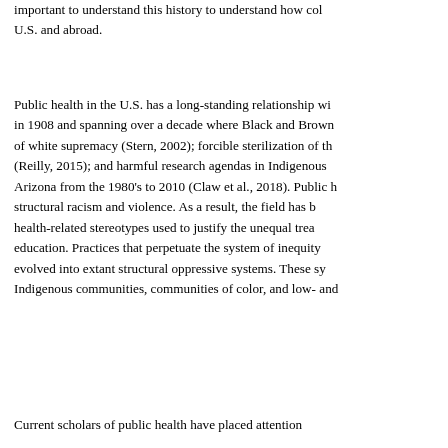important to understand this history to understand how color U.S. and abroad.
Public health in the U.S. has a long-standing relationship wi in 1908 and spanning over a decade where Black and Brown of white supremacy (Stern, 2002); forcible sterilization of th (Reilly, 2015); and harmful research agendas in Indigenous Arizona from the 1980's to 2010 (Claw et al., 2018). Public h structural racism and violence. As a result, the field has b health-related stereotypes used to justify the unequal trea education. Practices that perpetuate the system of inequity evolved into extant structural oppressive systems. These sy Indigenous communities, communities of color, and low- and
Current scholars of public health have placed attention